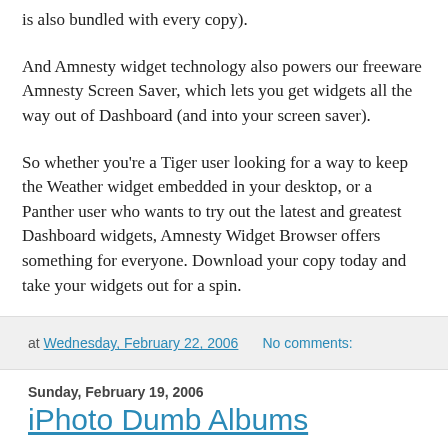is also bundled with every copy).
And Amnesty widget technology also powers our freeware Amnesty Screen Saver, which lets you get widgets all the way out of Dashboard (and into your screen saver).
So whether you're a Tiger user looking for a way to keep the Weather widget embedded in your desktop, or a Panther user who wants to try out the latest and greatest Dashboard widgets, Amnesty Widget Browser offers something for everyone. Download your copy today and take your widgets out for a spin.
at Wednesday, February 22, 2006    No comments:
Sunday, February 19, 2006
iPhoto Dumb Albums